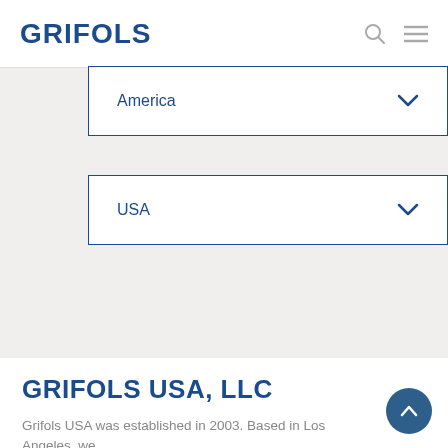GRIFOLS
[Figure (screenshot): Dropdown selector showing 'America' with a chevron arrow, blue border on white background]
[Figure (screenshot): Dropdown selector showing 'USA' with a chevron arrow, blue border on white background]
GRIFOLS USA, LLC
Grifols USA was established in 2003. Based in Los Angeles, we